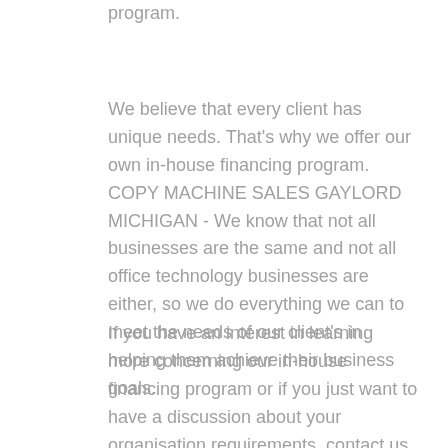program.
We believe that every client has unique needs. That's why we offer our own in-house financing program. COPY MACHINE SALES GAYLORD MICHIGAN - We know that not all businesses are the same and not all office technology businesses are either, so we do everything we can to meet the needs of our client's in helping them achieve their business goals.
If you have an interest in learning more concerning our in-house financing program or if you just want to have a discussion about your organisation requirements, contact us as well as ask for a meeting with among our organisation innovation professionals. Allow us reveal you how we are